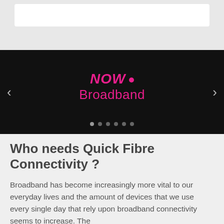[Figure (screenshot): Top grey area with a white rounded rectangle element (possibly a search bar or input field)]
[Figure (screenshot): Carousel banner on black background showing NOW Broadband logo in magenta/pink with navigation arrows on left and right, and dot indicators at bottom]
Who needs Quick Fibre Connectivity ?
Broadband has become increasingly more vital to our everyday lives and the amount of devices that we use every single day that rely upon broadband connectivity seems to increase. The